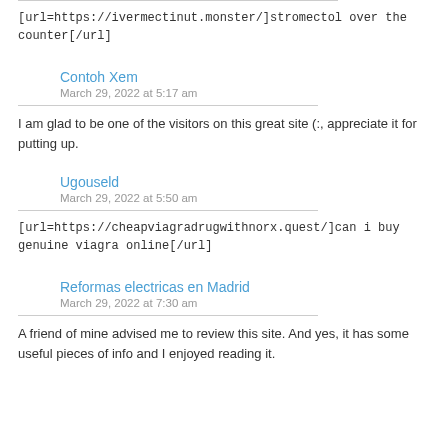[url=https://ivermectinut.monster/]stromectol over the counter[/url]
Contoh Xem
March 29, 2022 at 5:17 am
I am glad to be one of the visitors on this great site (:, appreciate it for putting up.
Ugouseld
March 29, 2022 at 5:50 am
[url=https://cheapviagradrugwithnorx.quest/]can i buy genuine viagra online[/url]
Reformas electricas en Madrid
March 29, 2022 at 7:30 am
A friend of mine advised me to review this site. And yes, it has some useful pieces of info and I enjoyed reading it.